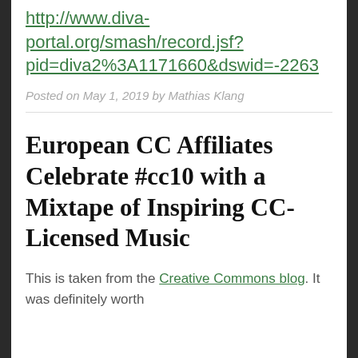http://www.diva-portal.org/smash/record.jsf?pid=diva2%3A1171660&dswid=-2263
Posted on May 1, 2019 by Mathias Klang
European CC Affiliates Celebrate #cc10 with a Mixtape of Inspiring CC-Licensed Music
This is taken from the Creative Commons blog. It was definitely worth sharing in full and reposting.